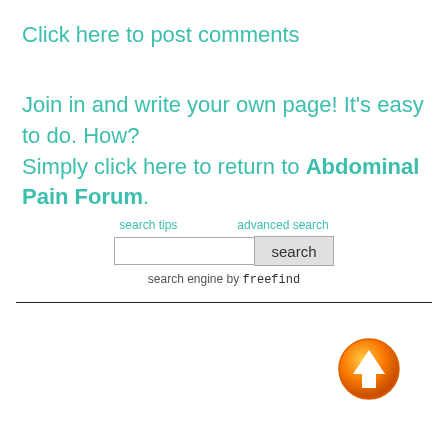Click here to post comments
Join in and write your own page! It's easy to do. How? Simply click here to return to Abdominal Pain Forum.
[Figure (screenshot): Search box widget with 'search tips' and 'advanced search' links above, a text input field, and a 'search' button. Below: 'search engine by freefind']
[Figure (illustration): Orange circular button with white upward-pointing arrow icon, used as a 'back to top' navigation element]